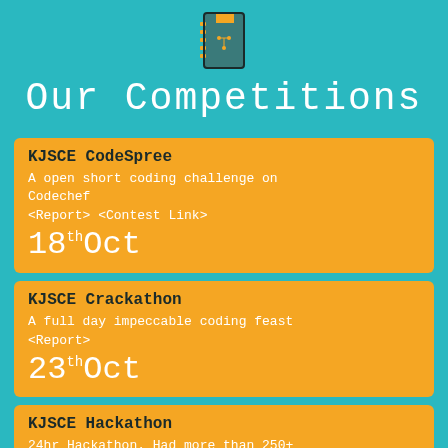[Figure (illustration): A stylized notebook/circuit board icon in teal, orange, and dark colors]
Our Competitions
KJSCE CodeSpree
A open short coding challenge on Codechef
<Report> <Contest Link>
18th Oct
KJSCE Crackathon
A full day impeccable coding feast
<Report>
23th Oct
KJSCE Hackathon
24hr Hackathon. Had more than 250+